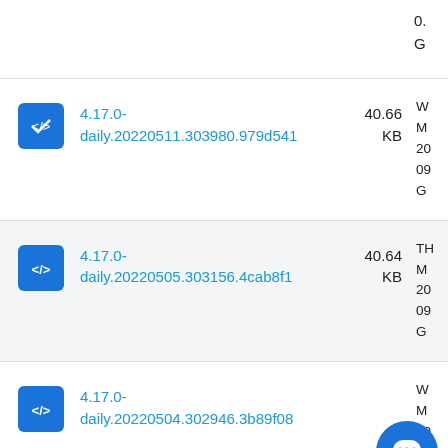G
4.17.0-daily.20220511.303980.979d541  40.66 KB
4.17.0-daily.20220505.303156.4cab8f1  40.64 KB
4.17.0-daily.20220504.302946.3b89f08